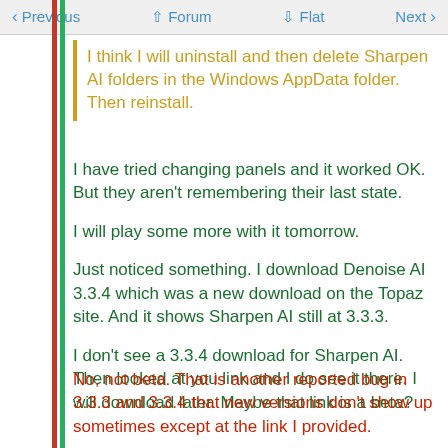< Previous   ^ Forum   v Flat   Next >
I think I will uninstall and then delete Sharpen AI folders in the Windows AppData folder. Then reinstall.
I have tried changing panels and it worked OK. But they aren't remembering their last state.
I will play some more with it tomorrow.
Just noticed something. I download Denoise AI 3.3.4 which was a new download on the Topaz site. And it shows Sharpen AI still at 3.3.3.
I don't see a 3.3.4 download for Sharpen AI. Then looked at you link and I do see it there. I will download later. Maybe that link is a beta?
No, not beta. That is another reported bug in 3.3.3 and 3.3.4 that new versions don't show up sometimes except at the link I provided.
I successfully downloaded the full install version of Sharpen AI 3.3.4, and it is running perfectly with the